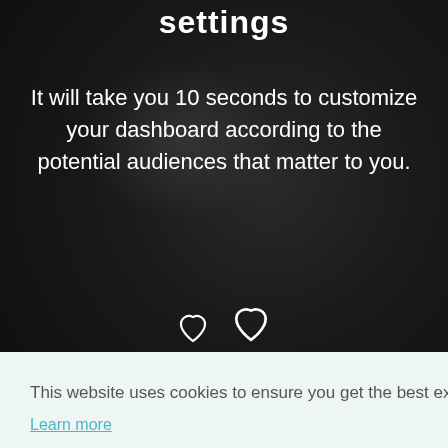settings
It will take you 10 seconds to customize your dashboard according to the potential audiences that matter to you.
[Figure (illustration): Two white heart/love icons side by side]
This website uses cookies to ensure you get the best experience on our website. Learn more
Got it!